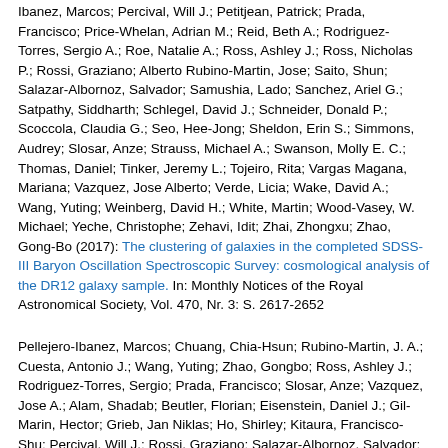Ibanez, Marcos; Percival, Will J.; Petitjean, Patrick; Prada, Francisco; Price-Whelan, Adrian M.; Reid, Beth A.; Rodriguez-Torres, Sergio A.; Roe, Natalie A.; Ross, Ashley J.; Ross, Nicholas P.; Rossi, Graziano; Alberto Rubino-Martin, Jose; Saito, Shun; Salazar-Albornoz, Salvador; Samushia, Lado; Sanchez, Ariel G.; Satpathy, Siddharth; Schlegel, David J.; Schneider, Donald P.; Scoccola, Claudia G.; Seo, Hee-Jong; Sheldon, Erin S.; Simmons, Audrey; Slosar, Anze; Strauss, Michael A.; Swanson, Molly E. C.; Thomas, Daniel; Tinker, Jeremy L.; Tojeiro, Rita; Vargas Magana, Mariana; Vazquez, Jose Alberto; Verde, Licia; Wake, David A.; Wang, Yuting; Weinberg, David H.; White, Martin; Wood-Vasey, W. Michael; Yeche, Christophe; Zehavi, Idit; Zhai, Zhongxu; Zhao, Gong-Bo (2017): The clustering of galaxies in the completed SDSS-III Baryon Oscillation Spectroscopic Survey: cosmological analysis of the DR12 galaxy sample. In: Monthly Notices of the Royal Astronomical Society, Vol. 470, Nr. 3: S. 2617-2652
Pellejero-Ibanez, Marcos; Chuang, Chia-Hsun; Rubino-Martin, J. A.; Cuesta, Antonio J.; Wang, Yuting; Zhao, Gongbo; Ross, Ashley J.; Rodriguez-Torres, Sergio; Prada, Francisco; Slosar, Anze; Vazquez, Jose A.; Alam, Shadab; Beutler, Florian; Eisenstein, Daniel J.; Gil-Marin, Hector; Grieb, Jan Niklas; Ho, Shirley; Kitaura, Francisco-Shu; Percival, Will J.; Rossi, Graziano; Salazar-Albornoz, Salvador; Samushia, Lado; Sanchez, Ariel G.; Satpathy, Siddharth; Seo, Hee-Jong; Tinker, Jeremy L.; Tojeiro, Rita; Vargas-Magana, Mariana; Brownstein, Joel R.; Nichol, Robert C.; Olmstead, Matthew D. (2017): The clustering of galaxies in the completed SDSS-III Baryon Oscillation Spectroscopic Survey: towards a computationally efficient analysis without informative priors. In: Monthly Notices of the Royal Astronomical Society, Vol. 468, Nr. 4: S. 4116-4133